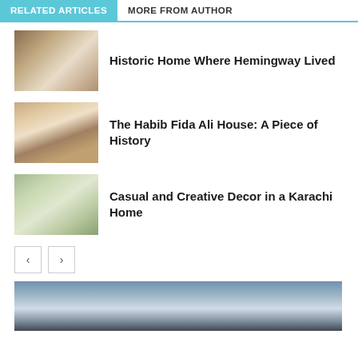RELATED ARTICLES | MORE FROM AUTHOR
Historic Home Where Hemingway Lived
The Habib Fida Ali House: A Piece of History
Casual and Creative Decor in a Karachi Home
[Figure (photo): Bottom landscape/architecture photo with cloudy sky]